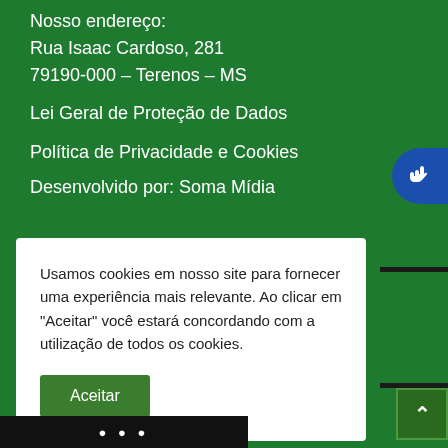Nosso endereço:
Rua Isaac Cardoso, 281
79190-000 – Terenos – MS
Lei Geral de Proteção de Dados
Política de Privacidade e Cookies
Desenvolvido por: Soma Mídia
[Figure (other): Blue circular accessibility icon button with white hand/stop symbol]
Usamos cookies em nosso site para fornecer uma experiência mais relevante. Ao clicar em "Aceitar" você estará concordando com a utilização de todos os cookies.
Aceitar